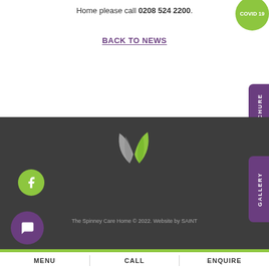Home please call 0208 524 2200.
COVID 19
BACK TO NEWS
BROCHURE
[Figure (logo): The Spinney Care Home logo with two leaves (grey and green) above the text 'THE SPINNEY CARE HOME']
GALLERY
The Spinney Care Home © 2022. Website by SAINT
MENU | CALL | ENQUIRE